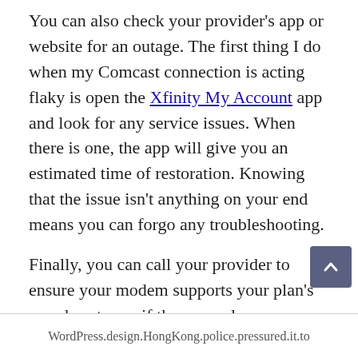You can also check your provider's app or website for an outage. The first thing I do when my Comcast connection is acting flaky is open the Xfinity My Account app and look for any service issues. When there is one, the app will give you an estimated time of restoration. Knowing that the issue isn't anything on your end means you can forgo any troubleshooting.
Finally, you can call your provider to ensure your modem supports your plan's speed, or to see if there are plans or promotions that will be worth an upgrade, so you can get the speeds you need in order to have a stress-free day of work and play.
Tags: connections, Easy, fast, feels, internet, Slow
WordPress.design.HongKong.police.pressured.it.to